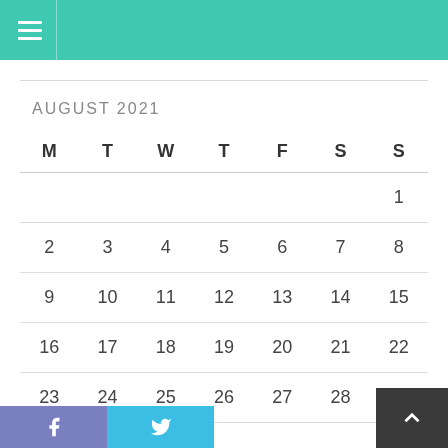Navigation menu header bar (teal/green)
AUGUST 2021
| M | T | W | T | F | S | S |
| --- | --- | --- | --- | --- | --- | --- |
|  |  |  |  |  |  | 1 |
| 2 | 3 | 4 | 5 | 6 | 7 | 8 |
| 9 | 10 | 11 | 12 | 13 | 14 | 15 |
| 16 | 17 | 18 | 19 | 20 | 21 | 22 |
| 23 | 24 | 25 | 26 | 27 | 28 | 29 |
Facebook and Twitter social share buttons; scroll-to-top button